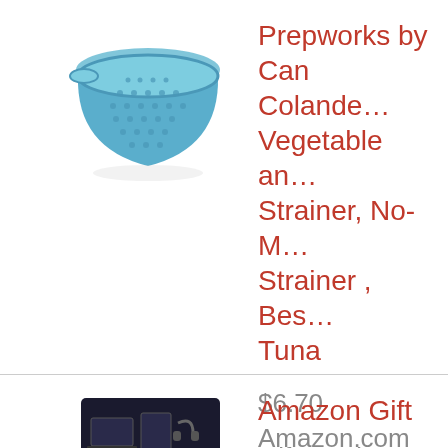[Figure (photo): Blue plastic can colander/strainer product photo on white background]
Prepworks by Can Colander, Vegetable and Strainer, No-Mess Strainer , Best for Tuna
$6.70
Amazon.com
[Figure (photo): Amazon gift card with dark background showing tech devices]
Amazon Gift
Gift Card